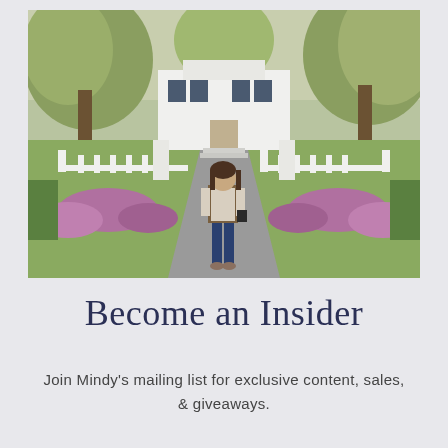[Figure (photo): A woman in jeans and a fur vest walking through an open white picket gate toward the camera. Behind her is a large white colonial-style mansion surrounded by tall trees with autumn foliage. The driveway path leads up to the house, flanked by colorful flower beds with purple and pink mums.]
Become an Insider
Join Mindy's mailing list for exclusive content, sales, & giveaways.